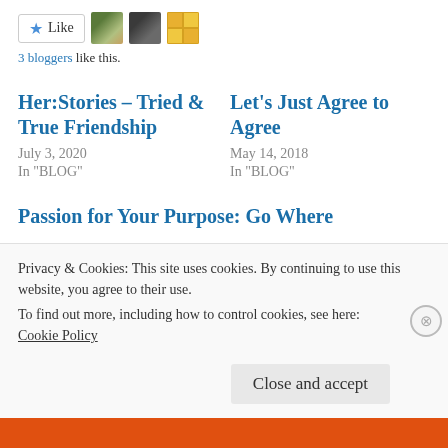[Figure (other): Like button with star icon and 3 blogger avatars (two profile photos and one decorative gold grid icon)]
3 bloggers like this.
Her:Stories – Tried & True Friendship
July 3, 2020
In "BLOG"
Let's Just Agree to Agree
May 14, 2018
In "BLOG"
Passion for Your Purpose: Go Where
Privacy & Cookies: This site uses cookies. By continuing to use this website, you agree to their use.
To find out more, including how to control cookies, see here:
Cookie Policy
Close and accept